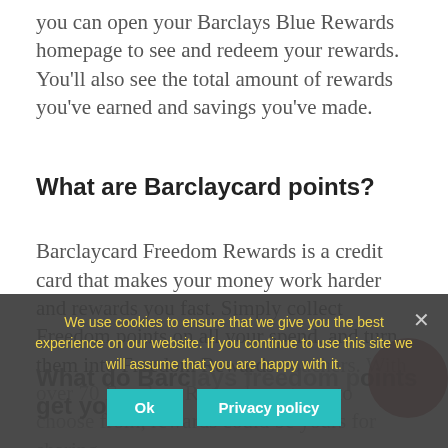you can open your Barclays Blue Rewards homepage to see and redeem your rewards. You'll also see the total amount of rewards you've earned and savings you've made.
What are Barclaycard points?
Barclaycard Freedom Rewards is a credit card that makes your money work harder and rewards you fast. Simply collect Freedom points on all your spend, and turn them into Freedom Rewards vouchers. With over 70 Freedom Rewards partners to choose from, rewards could be yours for sharing...
What do Barclays freedom points get you?
We use cookies to ensure that we give you the best experience on our website. If you continue to use this site we will assume that you are happy with it.